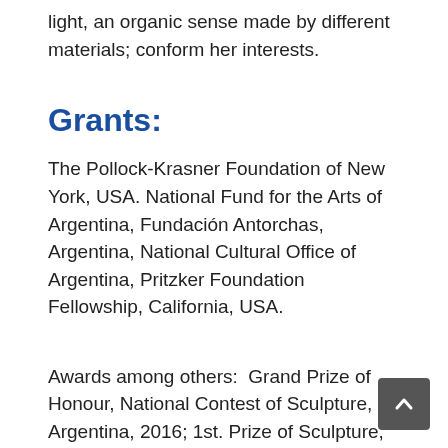light, an organic sense made by different materials; conform her interests.
Grants:
The Pollock-Krasner Foundation of New York, USA. National Fund for the Arts of Argentina, Fundación Antorchas, Argentina, National Cultural Office of Argentina, Pritzker Foundation Fellowship, California, USA.
Awards among others:  Grand Prize of Honour, National Contest of Sculpture, Argentina, 2016; 1st. Prize of Sculpture, Contest of the City of Buenos Aires, E. Sivori Museum, Arg. 1st. Prize of the National Contest of Sculpture of Argentina, Palais